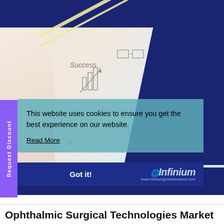[Figure (illustration): Cover page of Ophthalmic Surgical Technologies Market report by Infinium Global Research. Shows a dark navy blue background with diagonal yellow/cream stripes, and a central photo illustration of a hand with business/strategy sketch drawings including charts, lightbulb, success text, network diagrams. A teal semi-transparent cookie consent overlay is shown with 'Request Discount' purple sidebar tab. The Infinium logo appears bottom right of the overlay area.]
This website uses cookies to ensure you get the best experience on our website.
Read More
Got it!
Request Discount
Infinium
www.infiniumglobalresearch.com
Ophthalmic Surgical Technologies Market